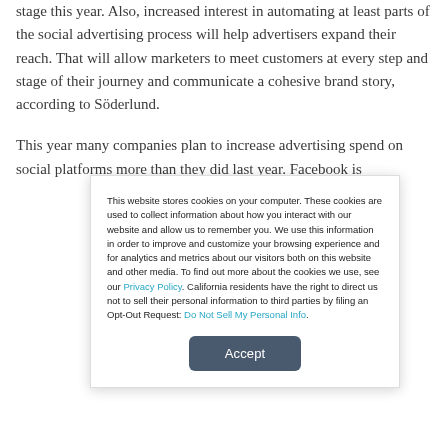stage this year. Also, increased interest in automating at least parts of the social advertising process will help advertisers expand their reach. That will allow marketers to meet customers at every step and stage of their journey and communicate a cohesive brand story, according to Söderlund.
This year many companies plan to increase advertising spend on social platforms more than they did last year. Facebook is
This website stores cookies on your computer. These cookies are used to collect information about how you interact with our website and allow us to remember you. We use this information in order to improve and customize your browsing experience and for analytics and metrics about our visitors both on this website and other media. To find out more about the cookies we use, see our Privacy Policy. California residents have the right to direct us not to sell their personal information to third parties by filing an Opt-Out Request: Do Not Sell My Personal Info.
Accept